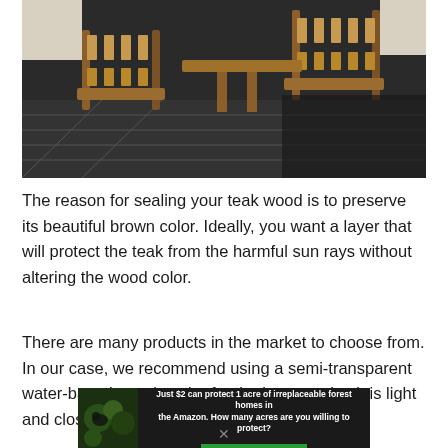[Figure (photo): Teak wood outdoor furniture including chairs with slatted backs and cushioned seats on a tiled patio surface]
The reason for sealing your teak wood is to preserve its beautiful brown color. Ideally, you want a layer that will protect the teak from the harmful sun rays without altering the wood color.
There are many products in the market to choose from. In our case, we recommend using a semi-transparent water-based wood sealer for the best results. It is light and closely
[Figure (infographic): Advertisement banner: Just $2 can protect 1 acre of irreplaceable forest homes in the Amazon. How many acres are you willing to protect? PROTECT FORESTS NOW]